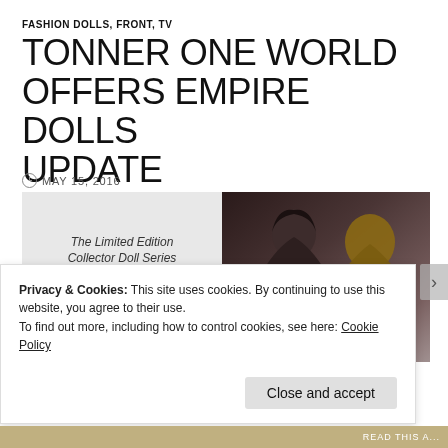FASHION DOLLS, FRONT, TV
TONNER ONE WORLD OFFERS EMPIRE DOLLS UPDATE
MAY 15, 2016
[Figure (illustration): Promotional image for The Limited Edition Collector Doll Series by Tonner One World, with Empire TV show imagery showing two people back to back, and gold Empire text overlay]
Privacy & Cookies: This site uses cookies. By continuing to use this website, you agree to their use.
To find out more, including how to control cookies, see here: Cookie Policy
Close and accept